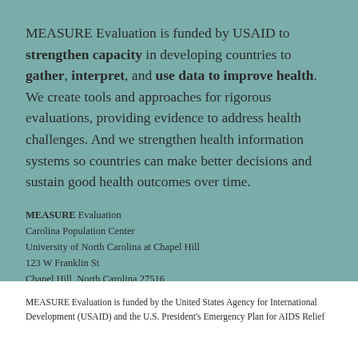MEASURE Evaluation is funded by USAID to strengthen capacity in developing countries to gather, interpret, and use data to improve health. We create tools and approaches for rigorous evaluations, providing evidence to address health challenges. And we strengthen health information systems so countries can make better decisions and sustain good health outcomes over time.
MEASURE Evaluation
Carolina Population Center
University of North Carolina at Chapel Hill
123 W Franklin St
Chapel Hill, North Carolina 27516
Email: measure@unc.edu
www.measureevaluation.org
MEASURE Evaluation is funded by the United States Agency for International Development (USAID) and the U.S. President's Emergency Plan for AIDS Relief